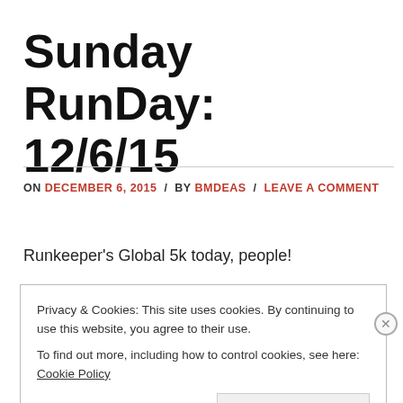Sunday RunDay: 12/6/15
ON DECEMBER 6, 2015 / BY BMDEAS / LEAVE A COMMENT
Runkeeper's Global 5k today, people!
Privacy & Cookies: This site uses cookies. By continuing to use this website, you agree to their use.
To find out more, including how to control cookies, see here: Cookie Policy
Close and accept